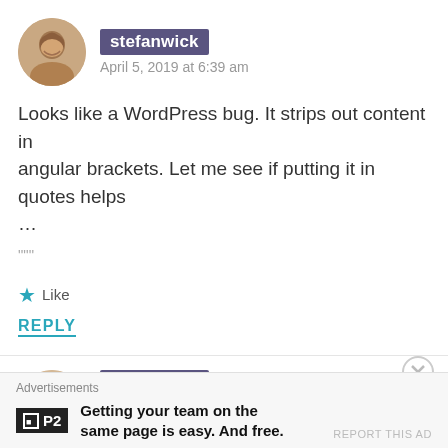stefanwick — April 5, 2019 at 6:39 am
Looks like a WordPress bug. It strips out content in angular brackets. Let me see if putting it in quotes helps ...
"""
★ Like
REPLY
[Figure (photo): Second avatar photo of stefanwick]
stefanwick
Advertisements
P2 — Getting your team on the same page is easy. And free.